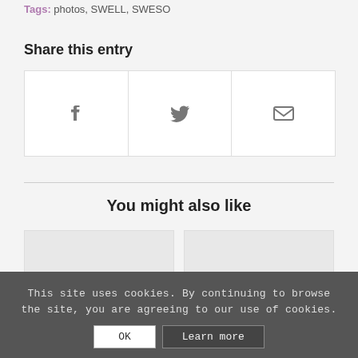Tags: photos, SWELL, SWESO
Share this entry
[Figure (other): Three social share buttons: Facebook (f icon), Twitter (bird icon), Email (envelope icon)]
You might also like
[Figure (other): Two thumbnail image placeholders side by side with pencil icons]
This site uses cookies. By continuing to browse the site, you are agreeing to our use of cookies.
OK   Learn more